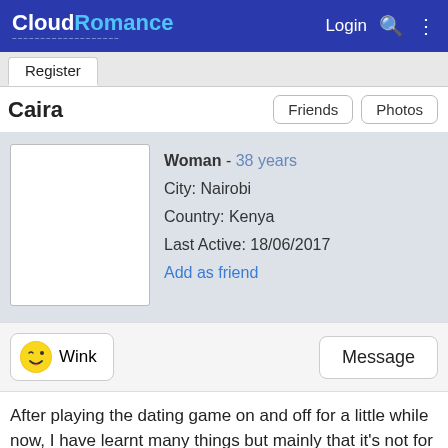CloudRomance — Login
Register
Caira
Friends
Photos
[Figure (photo): Blank white profile photo placeholder]
Woman - 38 years
City: Nairobi
Country: Kenya
Last Active: 18/06/2017
Add as friend
Wink
Message
After playing the dating game on and off for a little while now, I have learnt many things but mainly that it's not for the feint hearted! I've met some lovely people but ultimately I'm still on here. I'd describe myself as being a positive, kind person with a good sense of humour. I'm very